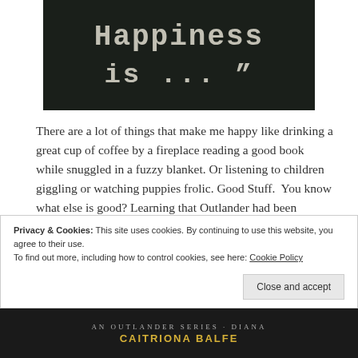[Figure (photo): Chalkboard with chalk-written text reading 'Happiness is ..."']
There are a lot of things that make me happy like drinking a great cup of coffee by a fireplace reading a good book while snuggled in a fuzzy blanket. Or listening to children giggling or watching puppies frolic. Good Stuff.  You know what else is good? Learning that Outlander had been nominated for 3 Golden Globe awards.
Privacy & Cookies: This site uses cookies. By continuing to use this website, you agree to their use.
To find out more, including how to control cookies, see here: Cookie Policy
[Close and accept]
[Figure (photo): Bottom portion of a book cover showing 'CAITRIONA BALFE' text in gold letters on dark background]